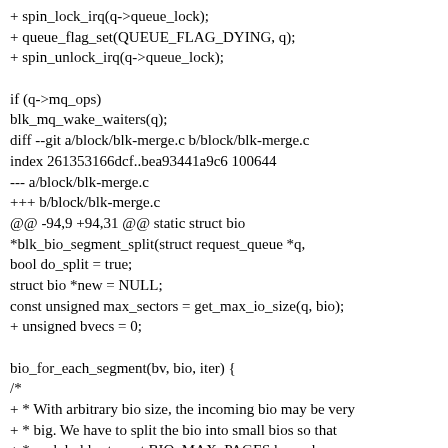+ spin_lock_irq(q->queue_lock);
+ queue_flag_set(QUEUE_FLAG_DYING, q);
+ spin_unlock_irq(q->queue_lock);

if (q->mq_ops)
blk_mq_wake_waiters(q);
diff --git a/block/blk-merge.c b/block/blk-merge.c
index 261353166dcf..bea93441a9c6 100644
--- a/block/blk-merge.c
+++ b/block/blk-merge.c
@@ -94,9 +94,31 @@ static struct bio
*blk_bio_segment_split(struct request_queue *q,
bool do_split = true;
struct bio *new = NULL;
const unsigned max_sectors = get_max_io_size(q, bio);
+ unsigned bvecs = 0;

bio_for_each_segment(bv, bio, iter) {
/*
+ * With arbitrary bio size, the incoming bio may be very
+ * big. We have to split the bio into small bios so that
+ * each holds at most BIO_MAX_PAGES bvecs because
+ * bio_clone() can fail to allocate big bvecs.
+ *
+ * It should have been better to apply the limit per